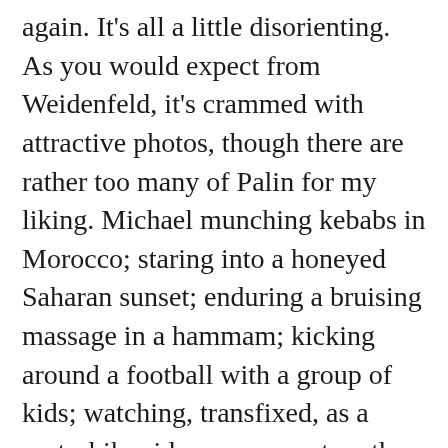again. It's all a little disorienting. As you would expect from Weidenfeld, it's crammed with attractive photos, though there are rather too many of Palin for my liking. Michael munching kebabs in Morocco; staring into a honeyed Saharan sunset; enduring a bruising massage in a hammam; kicking around a football with a group of kids; watching, transfixed, as a motorbike rider zooms past on the Paris-Dakar Rally. You get the picture. You get lots of them, in fact. ... Like many English travellers, Palin is obsessed with his bowels, so lavatorial musings are everywhere."